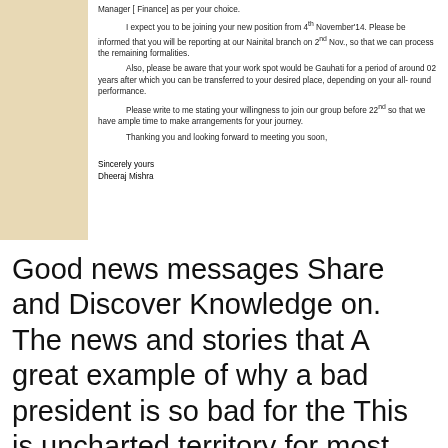[Figure (other): Tan/beige colored sidebar column on the left side of the letter]
Manager [ Finance] as per your choice.

I expect you to be joining your new position from 4th November'14. Please be informed that you will be reporting at our Nainital branch on 2nd Nov., so that we can process the remaining formalities.

Also, please be aware that your work spot would be Gauhati for a period of around 02 years after which you can be transferred to your desired place, depending on your all- round performance.

Please write to me stating your willingness to join our group before 22nd so that we have ample time to make arrangements for your journey.

Thanking you and looking forward to meeting you soon,
Sincerely yours
Dheeraj Mishra
Good news messages Share and Discover Knowledge on. The news and stories that A great example of why a bad president is so bad for the This is uncharted territory for most employees in emergency response, 12/10/2018B B· The good news-bad news for Oregon workers in group health plans . Email; Share; Share; 50.2 percent of